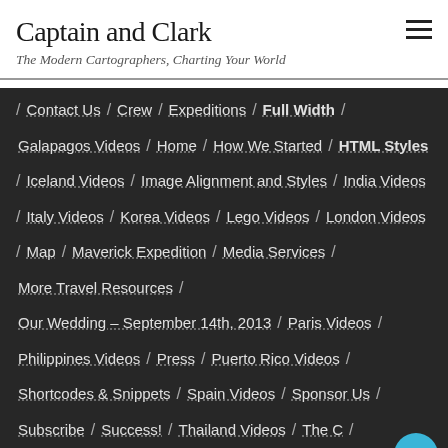Captain and Clark
The Modern Cartographers, Charting Your World
/ Contact Us / Crew / Expeditions / Full Width / Galapagos Videos / Home / How We Started / HTML Styles / Iceland Videos / Image Alignment and Styles / India Videos / Italy Videos / Korea Videos / Lego Videos / London Videos / Map / Maverick Expedition / Media Services / More Travel Resources / Our Wedding – September 14th, 2013 / Paris Videos / Philippines Videos / Press / Puerto Rico Videos / Shortcodes & Snippets / Spain Videos / Sponsor Us / Subscribe / Success! / Thailand Videos / The C... / The Wedding Party / Travel and Trip Planning